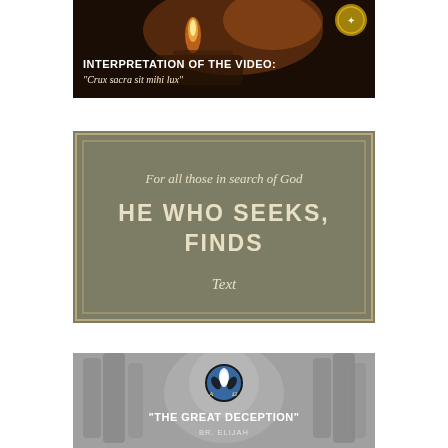[Figure (photo): Dark photo of hands with fire and a coin, with text overlay: 'INTERPRETATION OF THE VIDEO:' and italic subtitle '"Crux sacra sit mihi lux"']
[Figure (illustration): Gray-green banner with double border. Italic text: 'For all those in search of God', bold uppercase text: 'HE WHO SEEKS, FINDS', italic text: 'Text']
[Figure (illustration): Gray misty forest background with circular logo (Alpha-Omega symbol with white lily/fleur design on blue-black circle). Text: '"THE GREAT DECEPTION"' and author name 'Br. Elijah' below.]